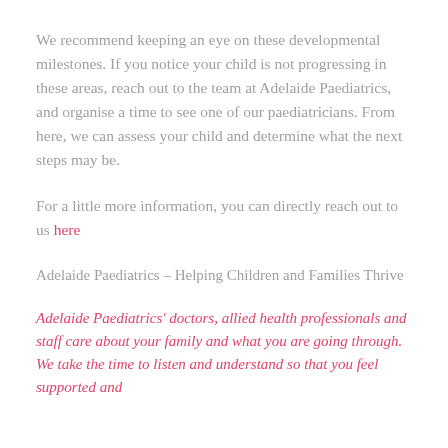We recommend keeping an eye on these developmental milestones. If you notice your child is not progressing in these areas, reach out to the team at Adelaide Paediatrics, and organise a time to see one of our paediatricians. From here, we can assess your child and determine what the next steps may be.
For a little more information, you can directly reach out to us here
Adelaide Paediatrics – Helping Children and Families Thrive
Adelaide Paediatrics' doctors, allied health professionals and staff care about your family and what you are going through. We take the time to listen and understand so that you feel supported and